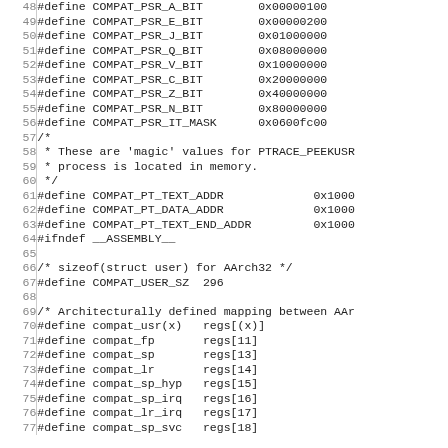Source code listing lines 48-77 showing C preprocessor defines and comments for ARM64 compatibility layer (compat_psr bits, compat_pt addresses, compat_user struct size, and compat register mappings)